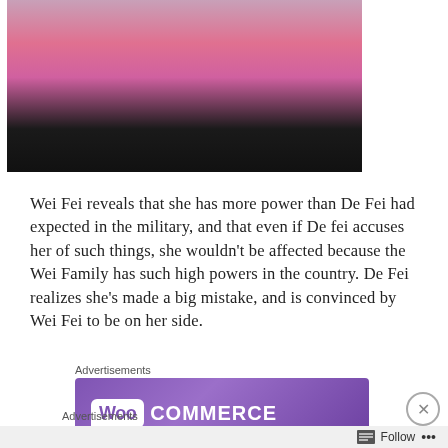[Figure (photo): Cropped screenshot of a person in colorful traditional Chinese costume, bottom portion showing dark video player bar]
Wei Fei reveals that she has more power than De Fei had expected in the military, and that even if De fei accuses her of such things, she wouldn’t be affected because the Wei Family has such high powers in the country. De Fei realizes she’s made a big mistake, and is convinced by Wei Fei to be on her side.
Advertisements
[Figure (logo): WooCommerce advertisement banner with purple gradient background and white WooCommerce logo]
Advertisements
[Figure (screenshot): Learn More banner ad: Launch your online course with WordPress, with a Learn More button]
Follow ...